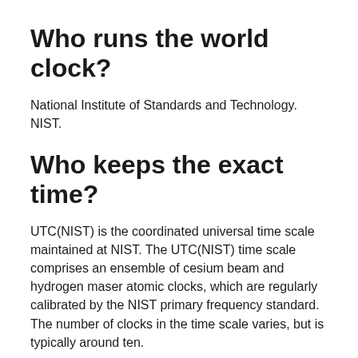Who runs the world clock?
National Institute of Standards and Technology. NIST.
Who keeps the exact time?
UTC(NIST) is the coordinated universal time scale maintained at NIST. The UTC(NIST) time scale comprises an ensemble of cesium beam and hydrogen maser atomic clocks, which are regularly calibrated by the NIST primary frequency standard. The number of clocks in the time scale varies, but is typically around ten.